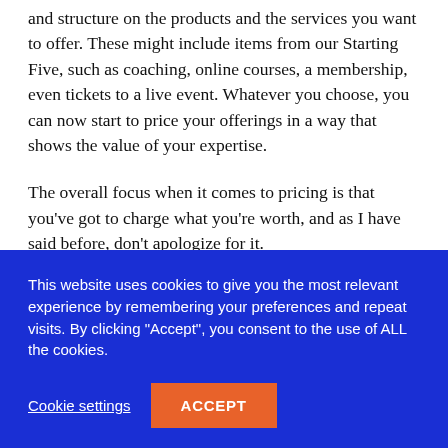and structure on the products and the services you want to offer. These might include items from our Starting Five, such as coaching, online courses, a membership, even tickets to a live event. Whatever you choose, you can now start to price your offerings in a way that shows the value of your expertise.
The overall focus when it comes to pricing is that you've got to charge what you're worth, and as I have said before, don't apologize for it.
So many people just don't see the actual value they add and
[Figure (screenshot): Cookie consent banner with blue background. Text reads: 'This website uses cookies to give you the most relevant experience by remembering your preferences and repeat visits. By clicking "Accept", you consent to the use of ALL the cookies.' Two buttons: 'Cookie settings' (underlined white text) and 'ACCEPT' (orange button).]